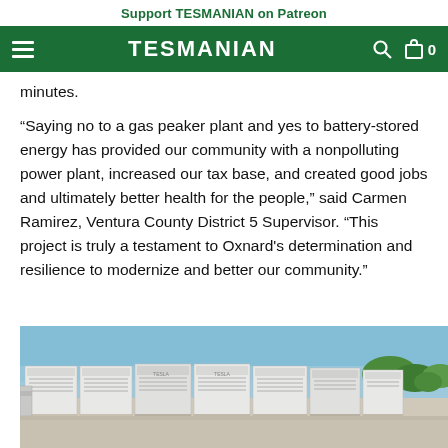Support TESMANIAN on Patreon
TESMANIAN
minutes.
“Saying no to a gas peaker plant and yes to battery-stored energy has provided our community with a nonpolluting power plant, increased our tax base, and created good jobs and ultimately better health for the people,” said Carmen Ramirez, Ventura County District 5 Supervisor. “This project is truly a testament to Oxnard's determination and resilience to modernize and better our community.”
[Figure (photo): Outdoor photo of Tesla Megapack battery energy storage units in a row against a blue sky with some green trees visible in the background.]